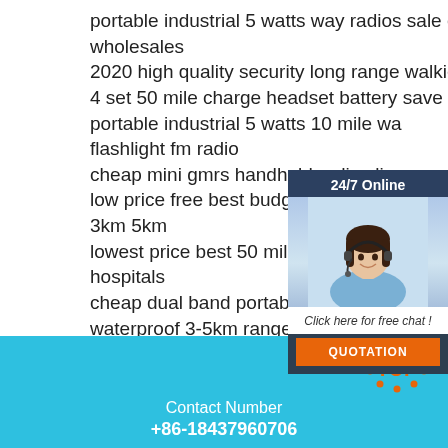portable industrial 5 watts way radios sale chinese wholesales
2020 high quality security long range walkie talkie
4 set 50 mile charge headset battery save
portable industrial 5 watts 10 mile wa... flashlight fm radio
cheap mini gmrs handheld radio slim
low price free best budget way radio 3km 5km
lowest price best 50 mile range walk... hospitals
cheap dual band portable motorola d... waterproof 3-5km range
[Figure (illustration): 24/7 Online chat widget with a smiling woman wearing a headset, dark background, white text 'Click here for free chat!', and an orange QUOTATION button]
Contact Number
+86-18437960706
[Figure (logo): TOP badge logo with orange dots in a circle around the word TOP]